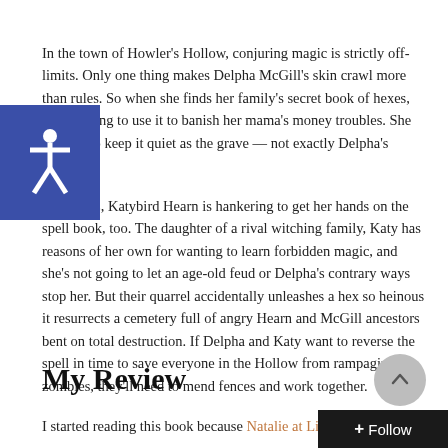In the town of Howler's Hollow, conjuring magic is strictly off-limits. Only one thing makes Delpha McGill's skin crawl more than rules. So when she finds her family's secret book of hexes, she's itching to use it to banish her mama's money troubles. She just has to keep it quiet as the grave — not exactly Delpha's specialty.

Trouble is, Katybird Hearn is hankering to get her hands on the spell book, too. The daughter of a rival witching family, Katy has reasons of her own for wanting to learn forbidden magic, and she's not going to let an age-old feud or Delpha's contrary ways stop her. But their quarrel accidentally unleashes a hex so heinous it resurrects a cemetery full of angry Hearn and McGill ancestors bent on total destruction. If Delpha and Katy want to reverse the spell in time to save everyone in the Hollow from rampaging zombies, they'll need to mend fences and work together.
My Review
I started reading this book because Natalie at Literary Rambles